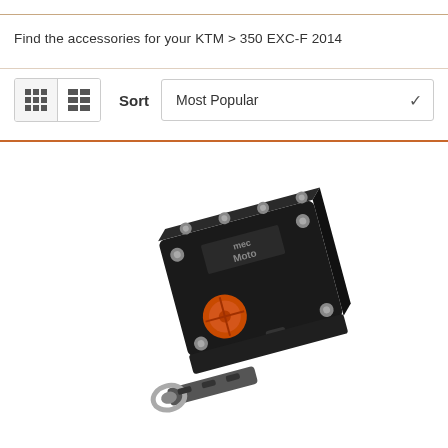Find the accessories for your KTM > 350 EXC-F 2014
[Figure (photo): Black motorcycle steering damper/stabilizer accessory with orange knob and silver mounting bracket, branded MSC Moto]
Sort  Most Popular